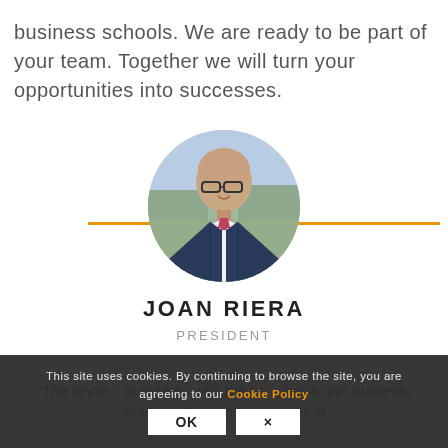business schools. We are ready to be part of your team. Together we will turn your opportunities into successes.
[Figure (photo): Circular profile photo of Joan Riera, a bald man wearing glasses, a dark suit, white shirt, and pink/red tie, photographed outdoors with blurred background.]
JOAN RIERA
PRESIDENT
This site uses cookies. By continuing to browse the site, you are agreeing to our Cookie Policy
"The secre... ourselves with the be... key to our success. Anyone who can surpass us in